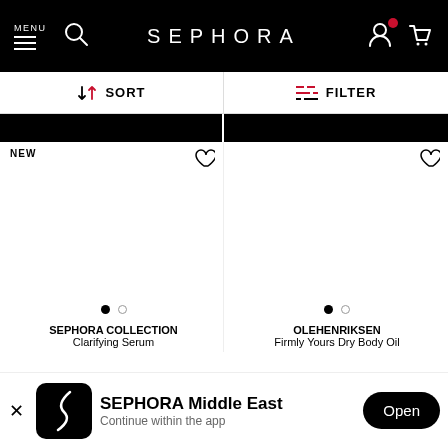MENU  SEPHORA
SORT   FILTER
[Figure (screenshot): Two black product image placeholder strips at the top of a two-column product grid]
NEW
SEPHORA COLLECTION Clarifying Serum
OLEHENRIKSEN Firmly Yours Dry Body Oil
SEPHORA Middle East  Continue within the app  Open